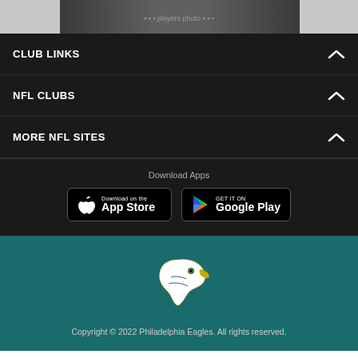[Figure (photo): Cropped sports team photo showing football players in dark uniforms]
CLUB LINKS
NFL CLUBS
MORE NFL SITES
Download Apps
[Figure (other): App Store download badge]
[Figure (other): Google Play download badge]
[Figure (logo): Philadelphia Eagles logo — eagle head silhouette in white]
Copyright © 2022 Philadelphia Eagles. All rights reserved.
[Figure (other): Social media icons: Facebook, Twitter, Email, Link]